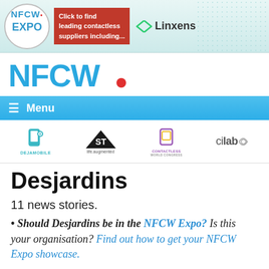[Figure (screenshot): NFCW Expo banner advertisement with logo, red text 'Click to find leading contactless suppliers including...' and Linxens logo]
[Figure (logo): NFCW logo in blue bold letters with red dot]
≡ Menu
[Figure (logo): Sponsor logos bar: DejaМобile, ST life.augmented, Contactless World Congress, cilab]
Desjardins
11 news stories.
Should Desjardins be in the NFCW Expo? Is this your organisation? Find out how to get your NFCW Expo showcase.